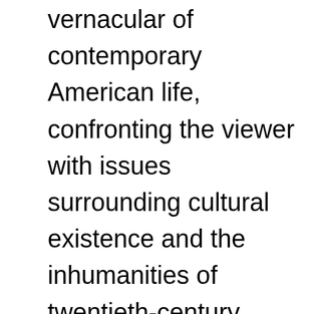vernacular of contemporary American life, confronting the viewer with issues surrounding cultural existence and the inhumanities of twentieth-century Western society. In 1953, Kienholz moved to Los Angeles from his hometown in Fairfield, Washington, and quickly became an active participant in the C...